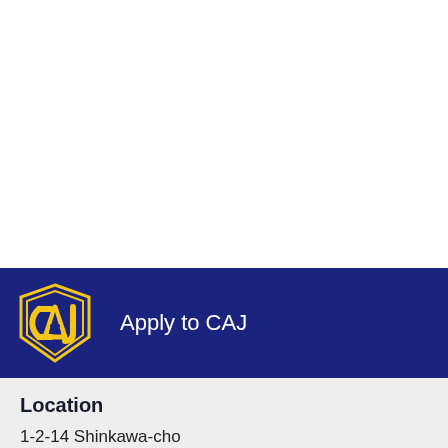[Figure (logo): CAJ school logo — gold stylized letters C, A, J inside a shield shape with dark navy outline, on dark blue background banner]
Apply to CAJ
Location
1-2-14 Shinkawa-cho
Higashi-Kurume-shi, Tokyo 203-0013